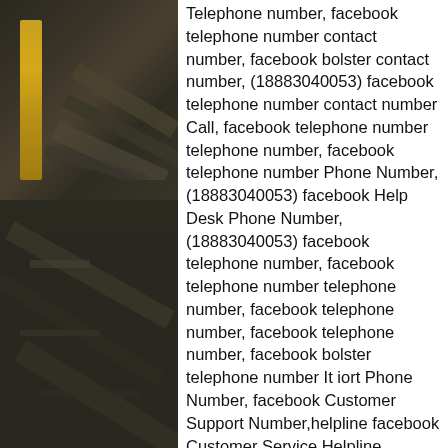[Figure (photo): Dark-toned photograph showing construction or industrial materials, with a vertical yellow bar visible on the left side and diagonal shapes in muted tones.]
Telephone number, facebook telephone number contact number, facebook bolster contact number, (18883040053) facebook telephone number contact number Call, facebook telephone number telephone number, facebook telephone number Phone Number, (18883040053) facebook Help Desk Phone Number, (18883040053) facebook telephone number, facebook telephone number telephone number, facebook telephone number, facebook telephone number, facebook bolster telephone number It iort Phone Number, facebook Customer Support Number,helpline facebook Customer Service Helpline Number, facebook online help, facebook telephone number group telephone number, helpline facebook help number* facebook